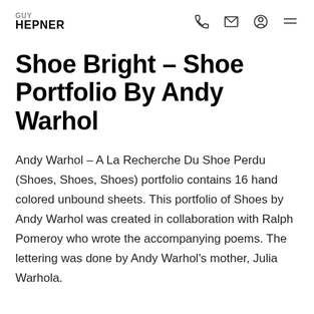GUY HEPNER
Shoe Bright – Shoe Portfolio By Andy Warhol
Andy Warhol – A La Recherche Du Shoe Perdu (Shoes, Shoes, Shoes) portfolio contains 16 hand colored unbound sheets. This portfolio of Shoes by Andy Warhol was created in collaboration with Ralph Pomeroy who wrote the accompanying poems. The lettering was done by Andy Warhol's mother, Julia Warhola.